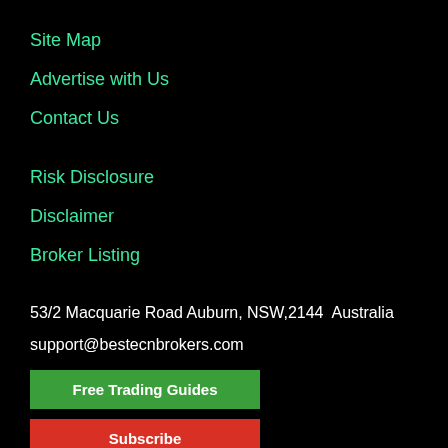Site Map
Advertise with Us
Contact Us
Risk Disclosure
Disclaimer
Broker Listing
53/2 Macquarie Road Auburn, NSW,2144  Australia
support@bestecnbrokers.com
Free Trading Guides
Subscribe